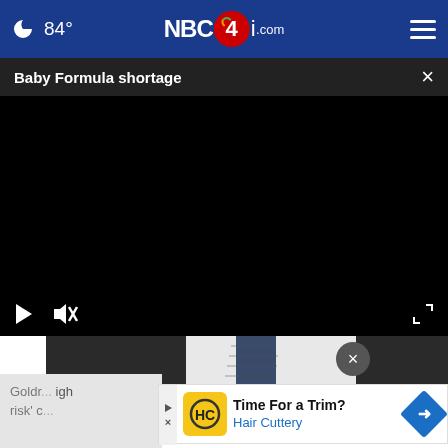🌙 84° NBC4i.com
Baby Formula shortage ×
[Figure (screenshot): Black video player area with play button, mute button, and fullscreen button controls at the bottom]
[Figure (photo): Partial photo of a person in a white shirt and dark tie, dark background]
Goldr... igh risk' c...
[Figure (other): Advertisement: Time For a Trim? Hair Cuttery with HC logo and directional arrow sign]